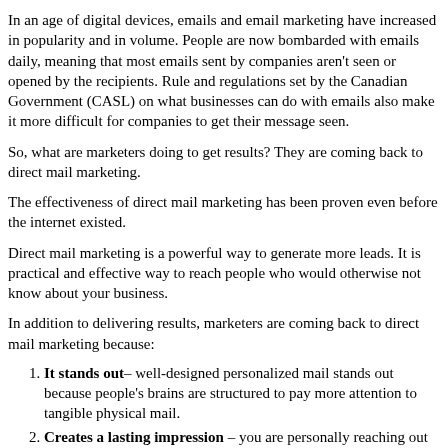In an age of digital devices, emails and email marketing have increased in popularity and in volume. People are now bombarded with emails daily, meaning that most emails sent by companies aren't seen or opened by the recipients. Rule and regulations set by the Canadian Government (CASL) on what businesses can do with emails also make it more difficult for companies to get their message seen.
So, what are marketers doing to get results? They are coming back to direct mail marketing.
The effectiveness of direct mail marketing has been proven even before the internet existed.
Direct mail marketing is a powerful way to generate more leads. It is practical and effective way to reach people who would otherwise not know about your business.
In addition to delivering results, marketers are coming back to direct mail marketing because:
It stands out– well-designed personalized mail stands out because people's brains are structured to pay more attention to tangible physical mail.
Creates a lasting impression – you are personally reaching out to the customer. Your brand marketing is going beyond di…